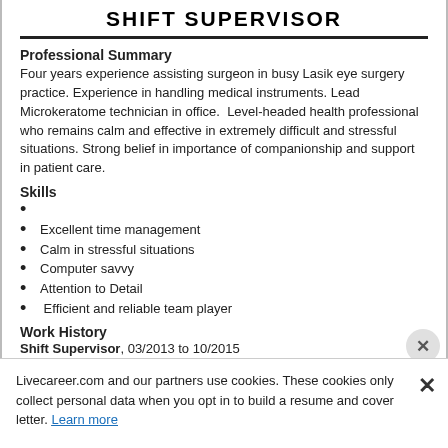SHIFT SUPERVISOR
Professional Summary
Four years experience assisting surgeon in busy Lasik eye surgery practice. Experience in handling medical instruments. Lead Microkeratome technician in office.  Level-headed health professional who remains calm and effective in extremely difficult and stressful situations. Strong belief in importance of companionship and support in patient care.
Skills
Excellent time management
Calm in stressful situations
Computer savvy
Attention to Detail
Efficient and reliable team player
Work History
Shift Supervisor, 03/2013 to 10/2015
Caci International Inc. – Mililani Town , HI
Maintained retail area of store including setting up and
Livecareer.com and our partners use cookies. These cookies only collect personal data when you opt in to build a resume and cover letter. Learn more